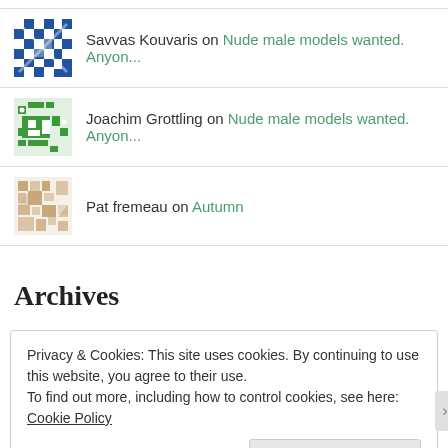Savvas Kouvaris on Nude male models wanted. Anyon...
Joachim Grottling on Nude male models wanted. Anyon...
Pat fremeau on Autumn
Archives
Privacy & Cookies: This site uses cookies. By continuing to use this website, you agree to their use.
To find out more, including how to control cookies, see here: Cookie Policy
Close and accept